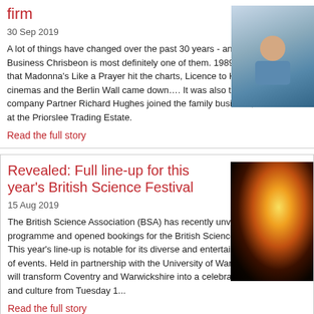firm
30 Sep 2019
A lot of things have changed over the past 30 years - and Shropshire Business Chrisbeon is most definitely one of them. 1989 was the year that Madonna's Like a Prayer hit the charts, Licence to Kill hit the cinemas and the Berlin Wall came down…. It was also the year that company Partner Richard Hughes joined the family business, then based at the Priorslee Trading Estate.
Read the full story
[Figure (photo): A man in a blue shirt smiling]
Revealed: Full line-up for this year's British Science Festival
15 Aug 2019
The British Science Association (BSA) has recently unveiled the full programme and opened bookings for the British Science Festival 2019. This year's line-up is notable for its diverse and entertaining programme of events. Held in partnership with the University of Warwick, the Festival will transform Coventry and Warwickshire into a celebration of science and culture from Tuesday 1...
Read the full story
[Figure (photo): Candle flame on dark background]
Suzuki Vitara Boosterjet SZ-T
[Figure (photo): Blue sky / outdoor photo]